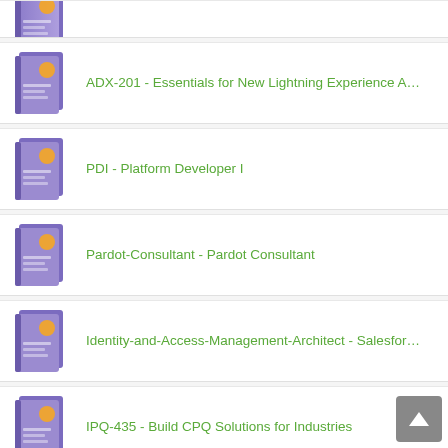(partial item - book image only visible)
ADX-201 - Essentials for New Lightning Experience Admi...
PDI - Platform Developer I
Pardot-Consultant - Pardot Consultant
Identity-and-Access-Management-Architect - Salesforce Ce...
IPQ-435 - Build CPQ Solutions for Industries
IPQ-499 - Design and Build a Working Industries CPQ Solu...
MKT-101 - Build and Analyze Customer Journeys using Ma...
CRT-403 - Prepare for your Platform App Builder Certificatio...
Customer-Data-Platform - Salesforce Customer Data Platfo...